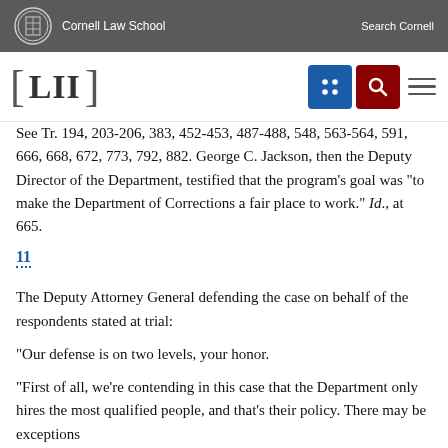Cornell Law School   Search Cornell
[Figure (logo): LII Legal Information Institute logo with navigation icons (grid and search) and hamburger menu]
See Tr. 194, 203-206, 383, 452-453, 487-488, 548, 563-564, 591, 666, 668, 672, 773, 792, 882. George C. Jackson, then the Deputy Director of the Department, testified that the program's goal was "to make the Department of Corrections a fair place to work." Id., at 665.
11
The Deputy Attorney General defending the case on behalf of the respondents stated at trial:
"Our defense is on two levels, your honor.
"First of all, we're contending in this case that the Department only hires the most qualified people, and that's their policy. There may be exceptions